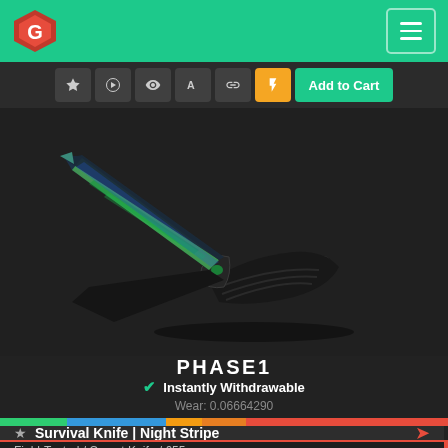Skinport marketplace header with logo and menu button
[Figure (screenshot): Toolbar with action icons: star, share, eye, inspect, link, lightning bolt (orange), and Add to Cart button (green)]
[Figure (photo): CS:GO Survival Knife Night Stripe (Phase 1) skin with blue-green iridescent blade on dark background]
PHASE1
Instantly Withdrawable
Wear: 0.06664290
[Figure (infographic): Wear bar showing gradient from green (Factory New) through blue, yellow, orange to red (Battle-Scarred). Indicator arrow near the green-blue boundary.]
★ Survival Knife | Night Stripe
Field-Tested / Covert Knife / 655